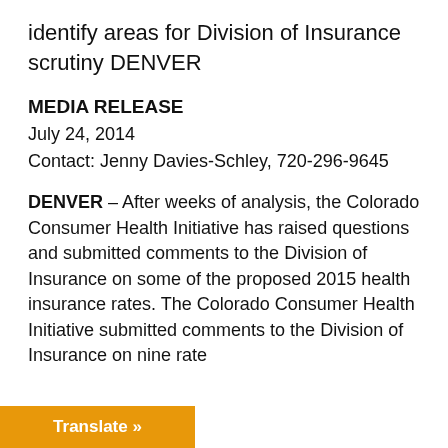identify areas for Division of Insurance scrutiny DENVER
MEDIA RELEASE
July 24, 2014
Contact: Jenny Davies-Schley, 720-296-9645
DENVER – After weeks of analysis, the Colorado Consumer Health Initiative has raised questions and submitted comments to the Division of Insurance on some of the proposed 2015 health insurance rates. The Colorado Consumer Health Initiative submitted comments to the Division of Insurance on nine rate
Translate »